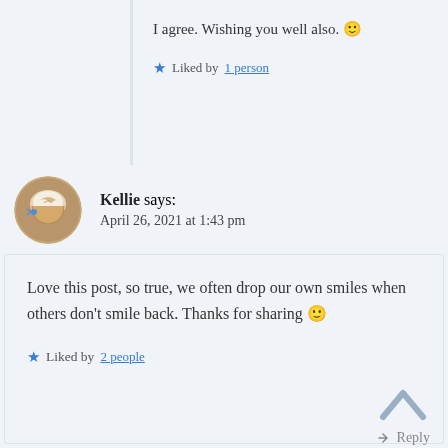I agree. Wishing you well also. 🙂
★ Liked by 1 person
Kellie says: April 26, 2021 at 1:43 pm
Love this post, so true, we often drop our own smiles when others don't smile back. Thanks for sharing 🙂
★ Liked by 2 people
↳ Reply